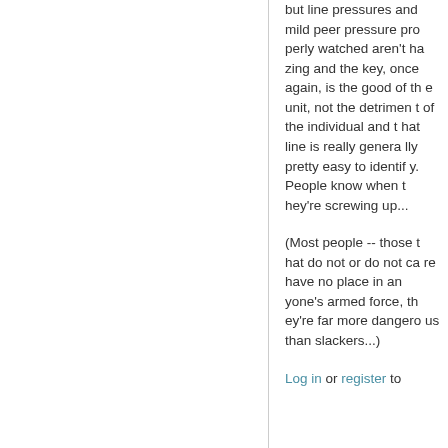but line pressures and mild peer pressure properly watched aren't hazing and the key, once again, is the good of the unit, not the detriment of the individual and that line is really generally pretty easy to identify. People know when they're screwing up...
(Most people -- those that do not or do not care have no place in anyone's armed force, they're far more dangerous than slackers...)
Log in or register to